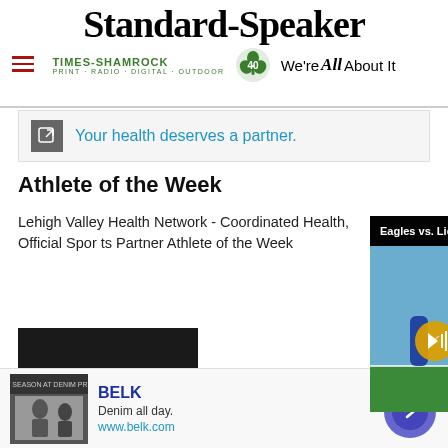Standard-Speaker
[Figure (logo): Times-Shamrock logo with shamrock icon and tagline: PRINT · RADIO · DIGITAL · OUTDOOR. We're All About It.]
[Figure (screenshot): Advertisement banner: external link icon and text 'Your health deserves a partner.']
Athlete of the Week
Lehigh Valley Health Network - Coordinated Health, Official Spor[ts Partner] Athlete of the Week[...]
[Figure (screenshot): Video popup overlay showing 'Eagles vs. Lions preview Week 1' with football game photo and mute button]
[Figure (photo): Dark/black article image placeholder]
[Figure (screenshot): Bottom advertisement: BELK brand ad with 'Denim all day.' tagline and www.belk.com URL, with navigation arrow button]